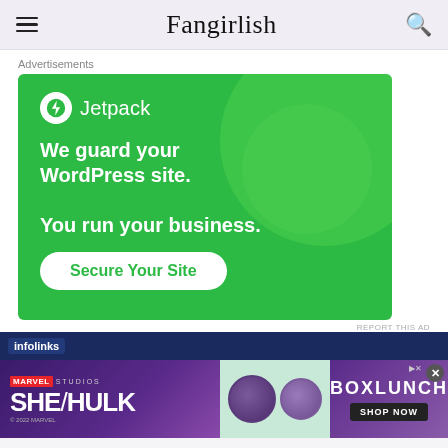Fangirlish
Advertisements
[Figure (other): Jetpack advertisement: green background with circular design elements, Jetpack logo (white lightning bolt in circle), text 'We guard your WordPress site. You run your business.' and a white 'Secure Your Site' button]
REPORT THIS AD
[Figure (other): Infolinks banner ad bar with dark blue background]
[Figure (other): She-Hulk / BoxLunch Marvel Studios banner advertisement showing SHE/HULK title text, purple-toned She-Hulk character pins in center, and BOXLUNCH branding with SHOP NOW button on right]